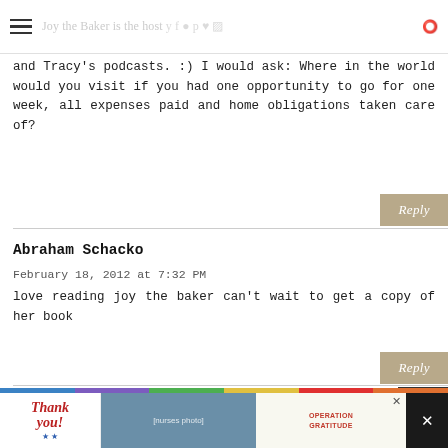Joy the Baker is the host ... love her recipes and am weekly entertainmen... (social icons: Twitter, Facebook, Instagram, Pinterest, Heart, RSS, Search)
and Tracy's podcasts. :) I would ask: Where in the world would you visit if you had one opportunity to go for one week, all expenses paid and home obligations taken care of?
Reply
Abraham Schacko
February 18, 2012 at 7:32 PM
love reading joy the baker can't wait to get a copy of her book
Reply
[Figure (other): Advertisement banner at bottom: Thank You with American flag imagery, Operation Gratitude logo with nurses photo]